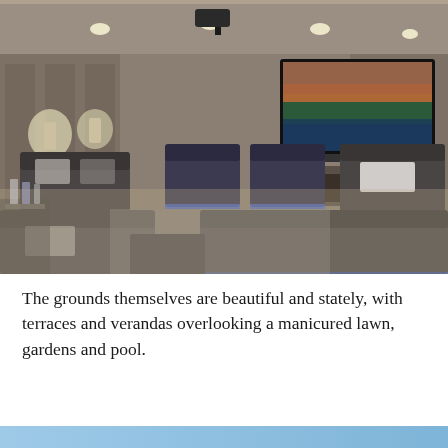[Figure (photo): Interior home cinema room with large flat screen TV on far wall displaying a beach sunset scene, multiple dark grey/charcoal sofas and armchairs arranged in rows, recessed ceiling lights, wall sconces providing ambient lighting, neutral carpet and tile flooring, projector mounted on ceiling.]
The grounds themselves are beautiful and stately, with terraces and verandas overlooking a manicured lawn, gardens and pool.
[Figure (photo): Partial bottom strip showing the beginning of another photo with blue/light tones.]